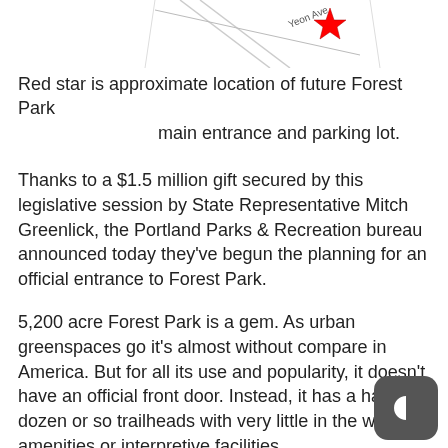[Figure (map): Partial map fragment showing Yeon Ave label and a red star marker indicating approximate location of future Forest Park main entrance and parking lot.]
Red star is approximate location of future Forest Park main entrance and parking lot.
Thanks to a $1.5 million gift secured by this legislative session by State Representative Mitch Greenlick, the Portland Parks & Recreation bureau announced today they've begun the planning for an official entrance to Forest Park.
5,200 acre Forest Park is a gem. As urban greenspaces go it's almost without compare in America. But for all its use and popularity, it doesn't have an official front door. Instead, it has a half-dozen or so trailheads with very little in the way of amenities or interpretive facilities.